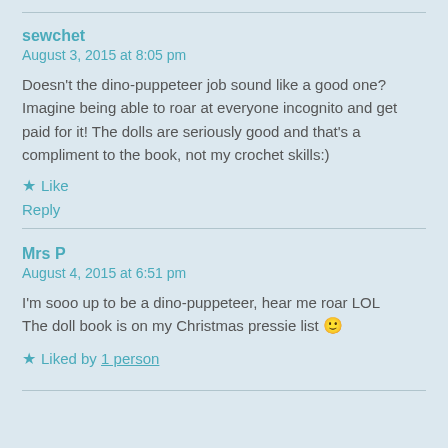sewchet
August 3, 2015 at 8:05 pm
Doesn't the dino-puppeteer job sound like a good one? Imagine being able to roar at everyone incognito and get paid for it! The dolls are seriously good and that's a compliment to the book, not my crochet skills:)
Like
Reply
Mrs P
August 4, 2015 at 6:51 pm
I'm sooo up to be a dino-puppeteer, hear me roar LOL
The doll book is on my Christmas pressie list 🙂
Liked by 1 person